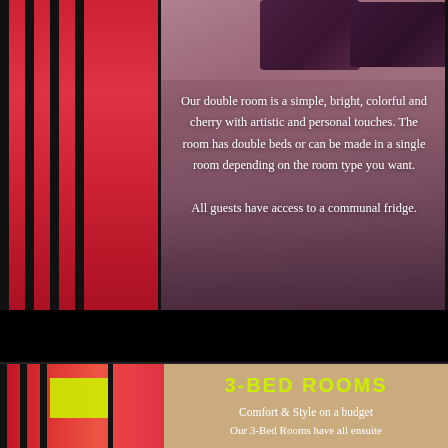[Figure (photo): Photo of a double bed with purple/mauve bedding and dark pillows, with a red curtain visible on the left side]
Our double room is a simple, bright, colorful and cherry with artistic and personal touches. The room has double beds or can be made in a single room depending on the room type you want. All guests have access to a communal fridge.
[Figure (photo): Photo showing colorful red curtains with black stripes and a yellow-green accent piece, next to a tan/beige wall]
3-BED ROOMS
Comfort & Style on a budget
Our 3-Bed Rooms have all ensuite